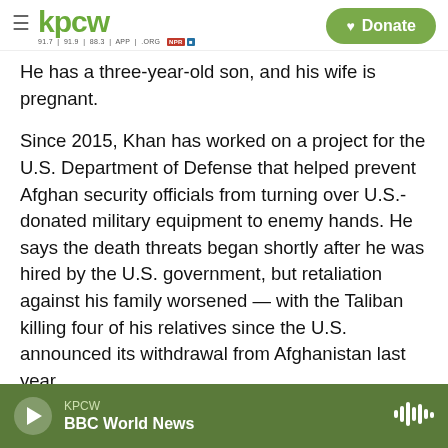KPCW — Donate
He has a three-year-old son, and his wife is pregnant.
Since 2015, Khan has worked on a project for the U.S. Department of Defense that helped prevent Afghan security officials from turning over U.S.-donated military equipment to enemy hands. He says the death threats began shortly after he was hired by the U.S. government, but retaliation against his family worsened — with the Taliban killing four of his relatives since the U.S. announced its withdrawal from Afghanistan last year.
Khan and his wife now keep a 24-hour watch
KPCW — BBC World News